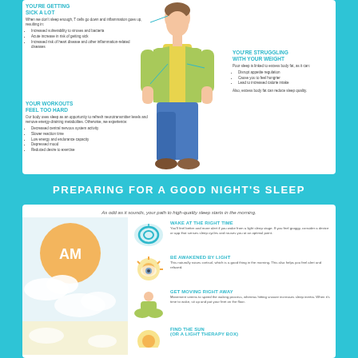YOU'RE GETTING SICK A LOT
When we don't sleep enough, T cells go down and inflammation goes up, resulting in:
Increased vulnerability to viruses and bacteria
Acute increase in risk of getting sick
Increased risk of heart disease and other inflammation-related diseases
YOUR WORKOUTS FEEL TOO HARD
Our body uses sleep as an opportunity to refresh neurotransmitter levels and remove energy-draining metabolites. Otherwise, we experience:
Decreased central nervous system activity
Slower reaction time
Low energy and endurance capacity
Depressed mood
Reduced desire to exercise
YOU'RE STRUGGLING WITH YOUR WEIGHT
Poor sleep is linked to excess body fat, as it can:
Disrupt appetite regulation
Cause you to feel hungrier
Lead to increased calorie intake
Also, excess body fat can reduce sleep quality.
[Figure (illustration): Illustration of a standing man in green shirt and blue pants]
PREPARING FOR A GOOD NIGHT'S SLEEP
As odd as it sounds, your path to high-quality sleep starts in the morning.
[Figure (illustration): AM circle with sun and clouds background illustration]
WAKE AT THE RIGHT TIME
You'll feel better and more alert if you wake from a light sleep stage. If you feel groggy, consider a device or app that senses sleep cycles and rouses you at an optimal point.
BE AWAKENED BY LIGHT
This naturally raises cortisol, which is a good thing in the morning. This also helps you feel alert and relaxed.
GET MOVING RIGHT AWAY
Movement seems to speed the waking process, whereas hitting snooze increases sleep inertia. When it's time to wake, sit up and put your feet on the floor.
FIND THE SUN (OR A LIGHT THERAPY BOX)